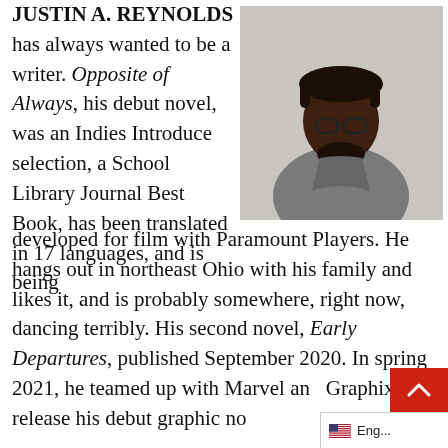JUSTIN A. REYNOLDS has always wanted to be a writer. Opposite of Always, his debut novel, was an Indies Introduce selection, a School Library Journal Best Book, has been translated in 17 languages, and is being developed for film with Paramount Players. He hangs out in northeast Ohio with his family and likes it, and is probably somewhere, right now, dancing terribly. His second novel, Early Departures, published September 2020. In spring 2021, he teamed up with Marvel and Graphix to release his debut graphic no...
[Figure (photo): Photo of Justin A. Reynolds, a Black man with dreadlocks and glasses wearing a grey button-up jacket, standing against a light stone wall]